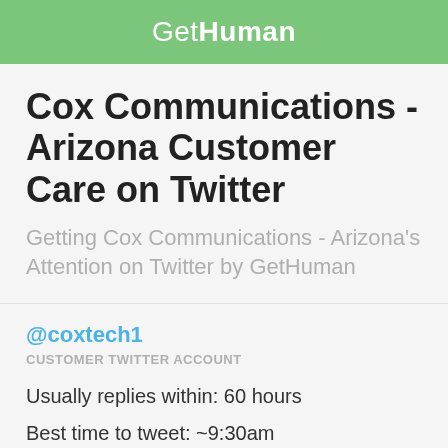GetHuman
Cox Communications - Arizona Customer Care on Twitter
Getting Cox Communications - Arizona's Attention on Twitter by GetHuman
@coxtech1
CUSTOMER TWITTER ACCOUNT
Usually replies within: 60 hours
Best time to tweet: ~9:30am